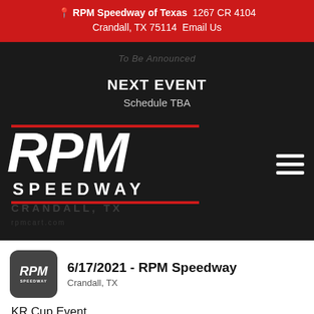RPM Speedway of Texas  1267 CR 4104  Crandall, TX 75114  Email Us
To Be Announced
NEXT EVENT
Schedule TBA
[Figure (logo): RPM Speedway logo with large italic RPM letters in white, red horizontal bars above and below, and SPEEDWAY text beneath]
CRANDALL, TX
rpmcart.com
[Figure (logo): RPM Speedway small app icon on gray rounded square background]
6/17/2021 - RPM Speedway
Crandall, TX
KR Cup Event
CLASSES